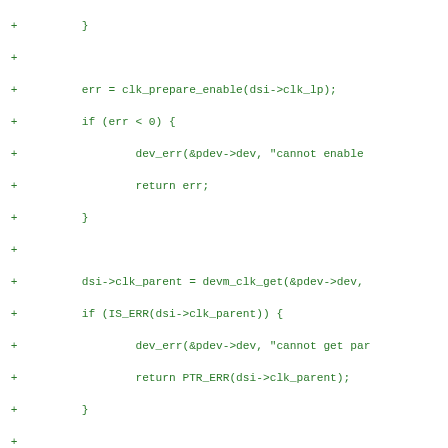Code diff showing added lines for clock and resource initialization in tegra DSI driver